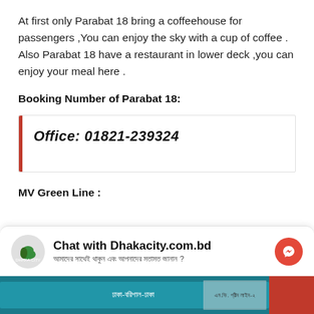At first only Parabat 18 bring a coffeehouse for passengers ,You can enjoy the sky with a cup of coffee . Also Parabat 18 have a restaurant in lower deck ,you can enjoy your meal here .
Booking Number of Parabat 18:
Office: 01821-239324
MV Green Line :
[Figure (screenshot): Chat with Dhakacity.com.bd messenger widget with logo, subtitle text in Bengali, and red messenger icon button]
[Figure (photo): Bottom portion of a ferry/ship image with text in Bengali]